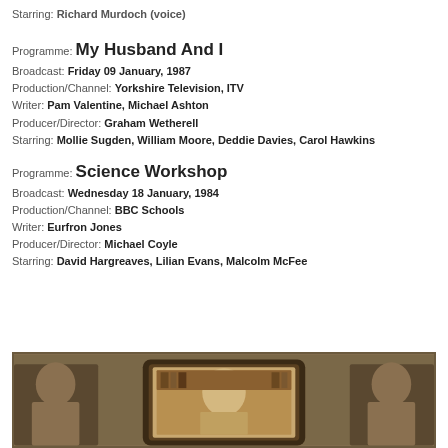Starring: Richard Murdoch (voice)
Programme: My Husband And I
Broadcast: Friday 09 January, 1987
Production/Channel: Yorkshire Television, ITV
Writer: Pam Valentine, Michael Ashton
Producer/Director: Graham Wetherell
Starring: Mollie Sugden, William Moore, Deddie Davies, Carol Hawkins
Programme: Science Workshop
Broadcast: Wednesday 18 January, 1984
Production/Channel: BBC Schools
Writer: Eurfron Jones
Producer/Director: Michael Coyle
Starring: David Hargreaves, Lilian Evans, Malcolm McFee
[Figure (photo): A framed television screen showing people in a scene, flanked by partial views of additional frames or figures on left and right, set against a brown/wood-toned background]